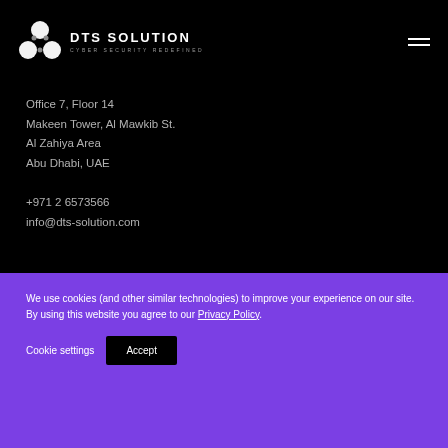DTS SOLUTION CYBER SECURITY REDEFINED
Office 7, Floor 14
Makeen Tower, Al Mawkib St.
Al Zahiya Area
Abu Dhabi, UAE
+971 2 6573566
info@dts-solution.com
We use cookies (and other similar technologies) to improve your experience on our site. By using this website you agree to our Privacy Policy.
Cookie settings  Accept